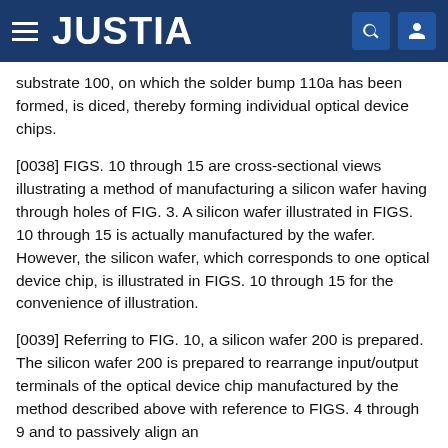JUSTIA
substrate 100, on which the solder bump 110a has been formed, is diced, thereby forming individual optical device chips.
[0038] FIGS. 10 through 15 are cross-sectional views illustrating a method of manufacturing a silicon wafer having through holes of FIG. 3. A silicon wafer illustrated in FIGS. 10 through 15 is actually manufactured by the wafer. However, the silicon wafer, which corresponds to one optical device chip, is illustrated in FIGS. 10 through 15 for the convenience of illustration.
[0039] Referring to FIG. 10, a silicon wafer 200 is prepared. The silicon wafer 200 is prepared to rearrange input/output terminals of the optical device chip manufactured by the method described above with reference to FIGS. 4 through 9 and to passively align an